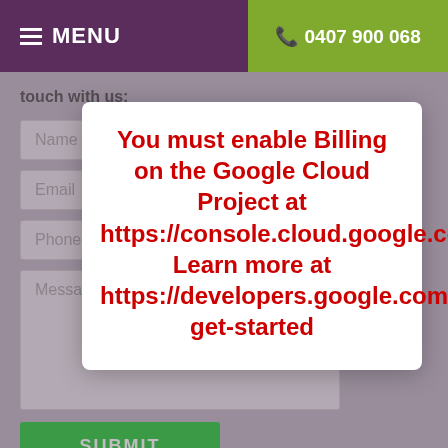≡ MENU   📞 0407 900 068
touch with us:
Name
Email
Phone
Message
SUBMIT
[Figure (screenshot): Google Maps API error popup overlay with red text: 'You must enable Billing on the Google Cloud Project at https://console.cloud.google.com/project/_/billing/enable Learn more at https://developers.google.com/maps/gmp-get-started']